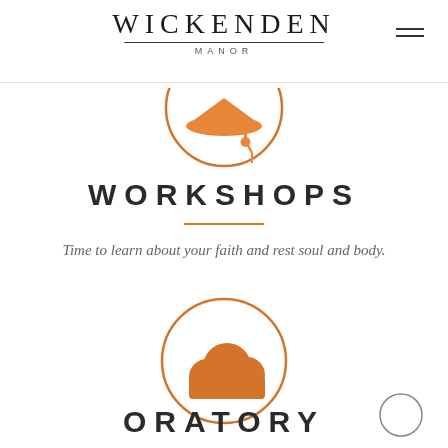WICKENDEN MANOR
[Figure (illustration): Partially visible orange graduation cap icon inside an orange circle, cropped at top of page]
WORKSHOPS
Time to learn about your faith and rest soul and body.
[Figure (illustration): Orange cloud icon inside an orange circle]
ORATORY